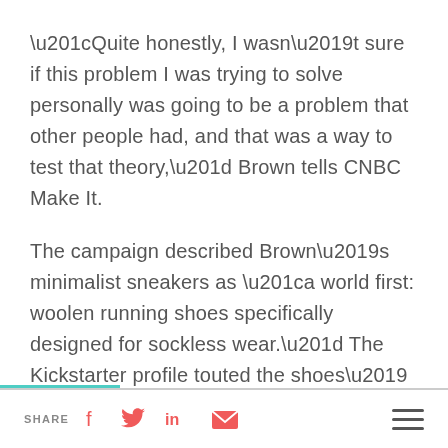“Quite honestly, I wasn’t sure if this problem I was trying to solve personally was going to be a problem that other people had, and that was a way to test that theory,” Brown tells CNBC Make It.
The campaign described Brown’s minimalist sneakers as “a world first: woolen running shoes specifically designed for sockless wear.” The Kickstarter profile touted the shoes’ comfort and utility — “as comfortable in a pair of jeans as they are in the gym” — as well as their machine-washability and the idea that the primary
SHARE